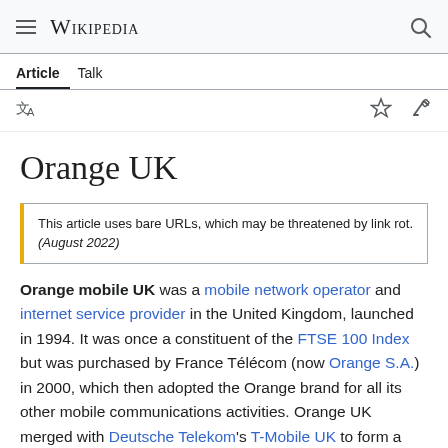Wikipedia
Orange UK
Article  Talk
This article uses bare URLs, which may be threatened by link rot. (August 2022)
Orange mobile UK was a mobile network operator and internet service provider in the United Kingdom, launched in 1994. It was once a constituent of the FTSE 100 Index but was purchased by France Télécom (now Orange S.A.) in 2000, which then adopted the Orange brand for all its other mobile communications activities. Orange UK merged with Deutsche Telekom's T-Mobile UK to form a